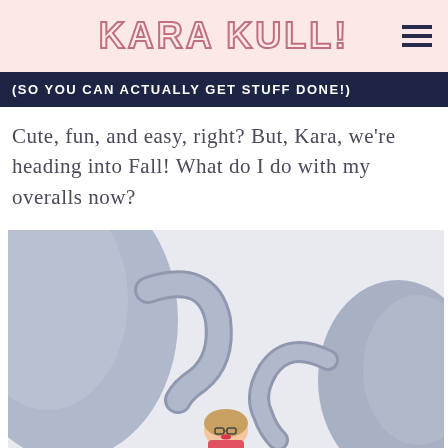KARA KULL!
(SO YOU CAN ACTUALLY GET STUFF DONE!)
Cute, fun, and easy, right? But, Kara, we're heading into Fall! What do I do with my overalls now?
[Figure (photo): Photo of a woman with glasses posing between two large elephant props/decorations on a light background]